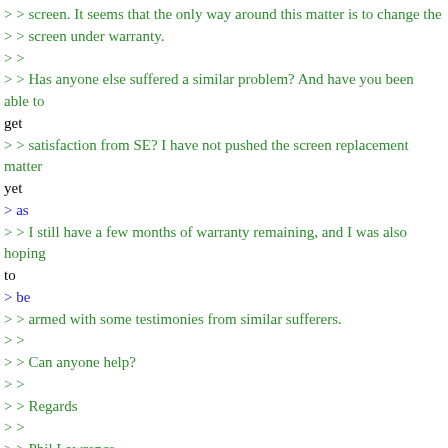> > screen. It seems that the only way around this matter is to change the
> > screen under warranty.
> >
> > Has anyone else suffered a similar problem? And have you been able to get
> > satisfaction from SE? I have not pushed the screen replacement matter yet
> as
> > I still have a few months of warranty remaining, and I was also hoping to
> be
> > armed with some testimonies from similar sufferers.
> >
> > Can anyone help?
> >
> > Regards
> >
> > Phil Lawrence
> >
> >
> Hi Phil